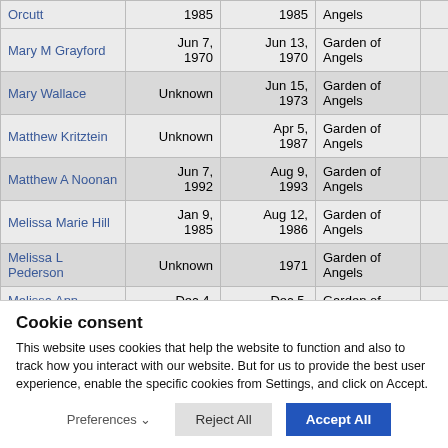| Name | Birth Date | Death Date | Cemetery |  |
| --- | --- | --- | --- | --- |
| Orcutt | 1985 | 1985 | Angels |  |
| Mary M Grayford | Jun 7, 1970 | Jun 13, 1970 | Garden of Angels |  |
| Mary Wallace | Unknown | Jun 15, 1973 | Garden of Angels |  |
| Matthew Kritztein | Unknown | Apr 5, 1987 | Garden of Angels |  |
| Matthew A Noonan | Jun 7, 1992 | Aug 9, 1993 | Garden of Angels |  |
| Melissa Marie Hill | Jan 9, 1985 | Aug 12, 1986 | Garden of Angels |  |
| Melissa L Pederson | Unknown | 1971 | Garden of Angels |  |
| Melissa Ann Stephens | Dec 4, 1988 | Dec 5, 1988 | Garden of Angels |  |
Cookie consent
This website uses cookies that help the website to function and also to track how you interact with our website. But for us to provide the best user experience, enable the specific cookies from Settings, and click on Accept.